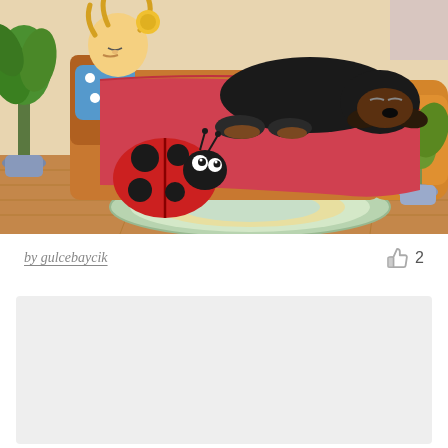[Figure (illustration): Children's book illustration showing a bedroom scene: a blonde girl sleeping in a bed covered with a pink/red blanket, a black dachshund dog resting on the bed, a large red ladybug with black spots on the floor, green and yellow potted plants, a circular rug, and a wooden floor.]
by gulcebaycik   👍 2
[Figure (illustration): Second illustration thumbnail, shown as a light gray placeholder rectangle.]